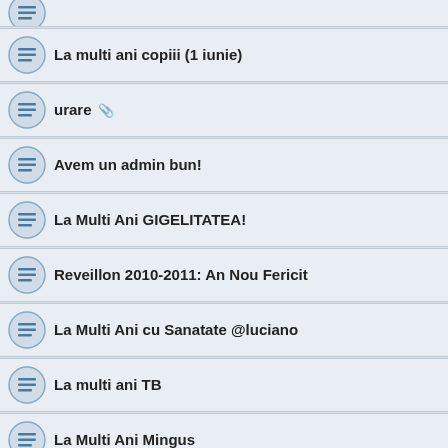La multi ani copiii (1 iunie)
urare
Avem un admin bun!
La Multi Ani GIGELITATEA!
Reveillon 2010-2011: An Nou Fericit
La Multi Ani cu Sanatate @luciano
La multi ani TB
La Multi Ani Mingus
LA MULTI ANI!!! Ada - Dreamwind55
UN GEST DE OMENIE - Sa nu inchidem ochii la ce vedem
An Nou Fericit si Multa Zapada Orasului si Oamenilor